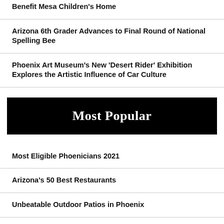Benefit Mesa Children's Home
Arizona 6th Grader Advances to Final Round of National Spelling Bee
Phoenix Art Museum's New 'Desert Rider' Exhibition Explores the Artistic Influence of Car Culture
Most Popular
Most Eligible Phoenicians 2021
Arizona's 50 Best Restaurants
Unbeatable Outdoor Patios in Phoenix